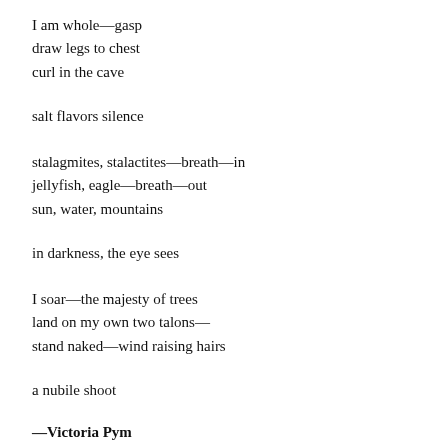I am whole—gasp
draw legs to chest
curl in the cave
salt flavors silence
stalagmites, stalactites—breath—in
jellyfish, eagle—breath—out
sun, water, mountains
in darkness, the eye sees
I soar—the majesty of trees
land on my own two talons—
stand naked—wind raising hairs
a nubile shoot
—Victoria Pym